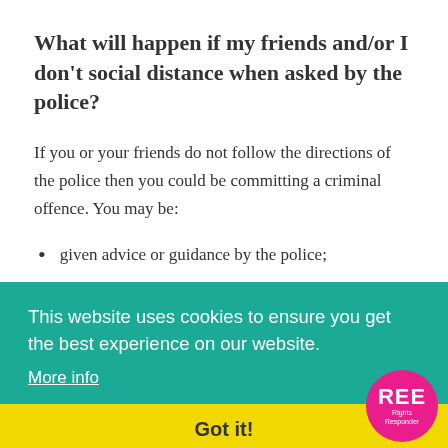What will happen if my friends and/or I don't social distance when asked by the police?
If you or your friends do not follow the directions of the police then you could be committing a criminal offence.  You may be:
given advice or guidance by the police;
issued with a Community Resolution Notice (a CRN is a notice that can be issued to anyone 10 years old and over for a range of offences not just for COVID-19);
issued a penalty notice of £200 (the penalty notice is not a criminal conviction and can be